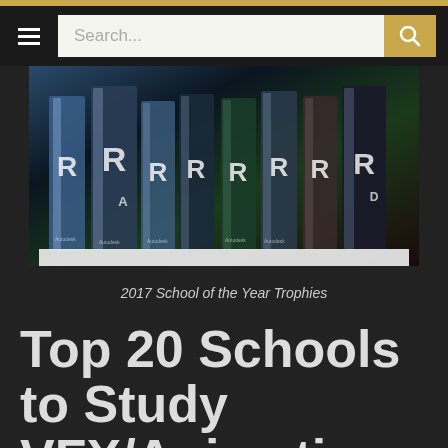Search...
[Figure (photo): Multiple Autodesk Rookies School of the Year 2017 crystal trophies standing in a row displaying the R logo on a white surface with dark background]
2017 School of the Year Trophies
Top 20 Schools to Study VFX/Animation and Next-Gen